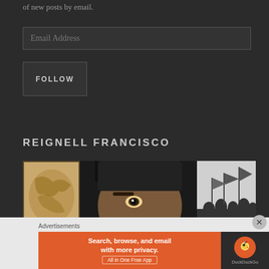of new posts by email.
Email Address
FOLLOW
REIGNELL FRANCISCO
[Figure (photo): Close-up photo of a person wearing a dark cap, with a world map poster visible on the left and black-and-white photo of flags/crowd on the right background]
Advertisements
[Figure (infographic): DuckDuckGo advertisement banner: orange left section with text 'Search, browse, and email with more privacy. All in One Free App' and dark right section with DuckDuckGo logo]